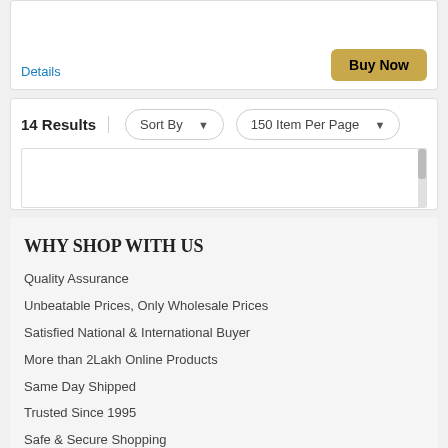Details
Buy Now
14 Results
Sort By
150 Item Per Page
WHY SHOP WITH US
Quality Assurance
Unbeatable Prices, Only Wholesale Prices
Satisfied National & International Buyer
More than 2Lakh Online Products
Same Day Shipped
Trusted Since 1995
Safe & Secure Shopping